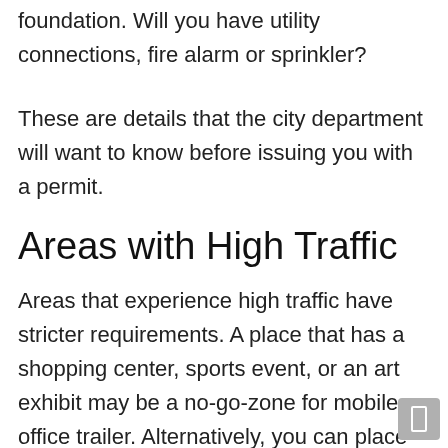foundation. Will you have utility connections, fire alarm or sprinkler?
These are details that the city department will want to know before issuing you with a permit.
Areas with High Traffic
Areas that experience high traffic have stricter requirements. A place that has a shopping center, sports event, or an art exhibit may be a no-go-zone for mobile office trailer. Alternatively, you can place the container during the offseason of the busy area.